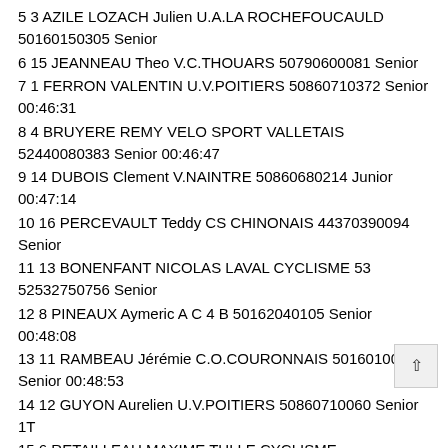5 3 AZILE LOZACH Julien U.A.LA ROCHEFOUCAULD 50160150305 Senior
6 15 JEANNEAU Theo V.C.THOUARS 50790600081 Senior
7 1 FERRON VALENTIN U.V.POITIERS 50860710372 Senior 00:46:31
8 4 BRUYERE REMY VELO SPORT VALLETAIS 52440080383 Senior 00:46:47
9 14 DUBOIS Clement V.NAINTRE 50860680214 Junior 00:47:14
10 16 PERCEVAULT Teddy CS CHINONAIS 44370390094 Senior
11 13 BONENFANT NICOLAS LAVAL CYCLISME 53 52532750756 Senior
12 8 PINEAUX Aymeric A C 4 B 50162040105 Senior 00:48:08
13 11 RAMBEAU Jérémie C.O.COURONNAIS 50160100305 Senior 00:48:53
14 12 GUYON Aurelien U.V.POITIERS 50860710060 Senior 1T
15 6 RETAILLEAU MAXIME TULLE CYCLISME COMPETITION 50190040095 Senior 1T
16 17 ASTIE Thomas CS CHINONAIS 44370390091 Senior 1T
17 30 TRICHOT Luc U.V.POITIERS 50860710182 Senior 1T